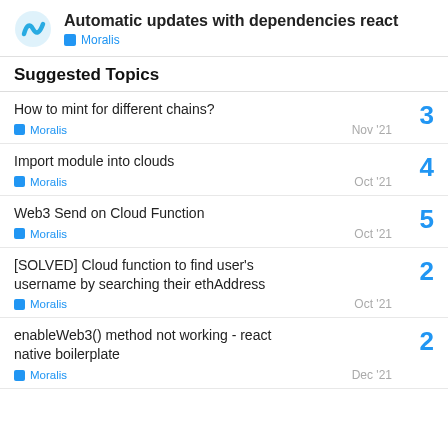Automatic updates with dependencies react | Moralis
Suggested Topics
How to mint for different chains? | Moralis | Nov '21 | 3
Import module into clouds | Moralis | Oct '21 | 4
Web3 Send on Cloud Function | Moralis | Oct '21 | 5
[SOLVED] Cloud function to find user's username by searching their ethAddress | Moralis | Oct '21 | 2
enableWeb3() method not working - react native boilerplate | Moralis | Dec '21 | 2